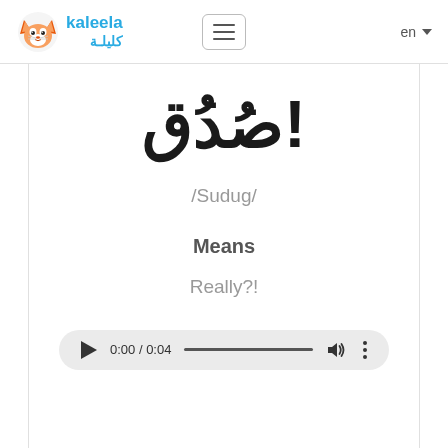[Figure (logo): Kaleela app logo: fox mascot icon with 'kaleela' in blue Latin text and Arabic text 'كليلة' below]
!صُدُق
/Sudug/
Means
Really?!
[Figure (other): Audio player bar showing 0:00 / 0:04 with play button, progress bar, volume icon, and menu dots]